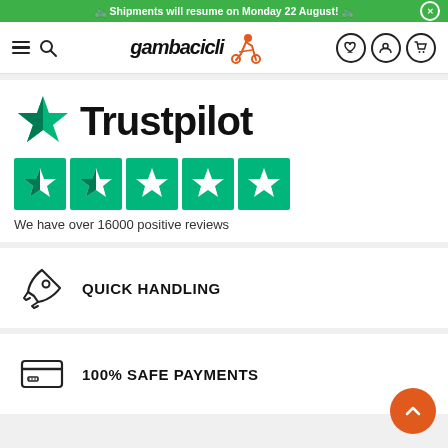🚲 Shipments will resume on Monday 22 August! 🚲
[Figure (logo): Gambacicli logo with cyclist icon in red/orange]
[Figure (logo): Trustpilot branding with large green star and Trustpilot text, five green star rating boxes, and text: We have over 16000 positive reviews]
We have over 16000 positive reviews
QUICK HANDLING
100% SAFE PAYMENTS